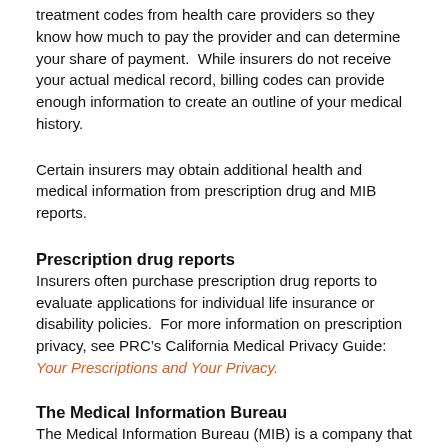treatment codes from health care providers so they know how much to pay the provider and can determine your share of payment.  While insurers do not receive your actual medical record, billing codes can provide enough information to create an outline of your medical history.
Certain insurers may obtain additional health and medical information from prescription drug and MIB reports.
Prescription drug reports
Insurers often purchase prescription drug reports to evaluate applications for individual life insurance or disability policies.  For more information on prescription privacy, see PRC’s California Medical Privacy Guide:  Your Prescriptions and Your Privacy.
The Medical Information Bureau
The Medical Information Bureau (MIB) is a company that